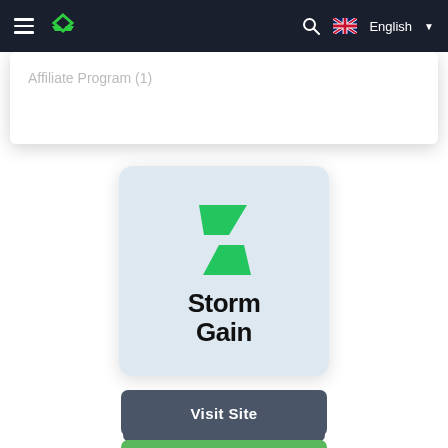StormGain - English navigation bar
Affiliate Program (1)
[Figure (logo): StormGain logo: green lightning bolt icon above bold text 'Storm Gain' on a light blue-grey rounded square card]
Visit Site
Open Account